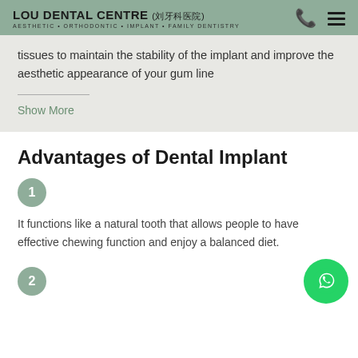LOU DENTAL CENTRE (刘牙科医院) AESTHETIC • ORTHODONTIC • IMPLANT • FAMILY DENTISTRY
tissues to maintain the stability of the implant and improve the aesthetic appearance of your gum line
Show More
Advantages of Dental Implant
1 — It functions like a natural tooth that allows people to have effective chewing function and enjoy a balanced diet.
2